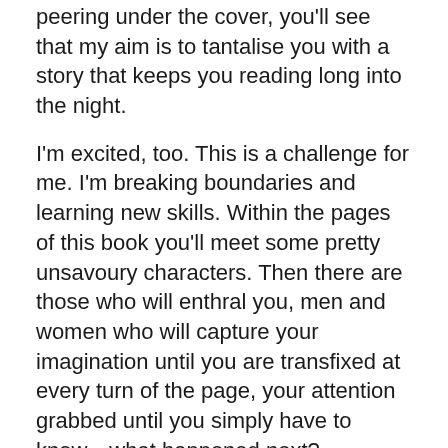peering under the cover, you'll see that my aim is to tantalise you with a story that keeps you reading long into the night.
I'm excited, too. This is a challenge for me. I'm breaking boundaries and learning new skills. Within the pages of this book you'll meet some pretty unsavoury characters. Then there are those who will enthral you, men and women who will capture your imagination until you are transfixed at every turn of the page, your attention grabbed until you simply have to know…what happened next?
The main character is Mia. She's young, beautiful and has so much to learn about love and relationships, and about how to live with the fear that someone is out there, wishing to hurt her. She's already suffered personal tragedy, been